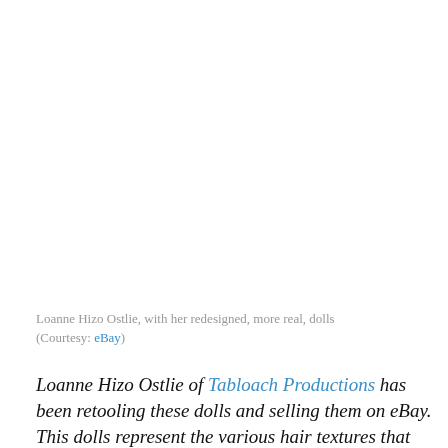Loanne Hizo Ostlie, with her redesigned, more real, dolls (Courtesy: eBay)
Loanne Hizo Ostlie of Tabloach Productions has been retooling these dolls and selling them on eBay. This dolls represent the various hair textures that Black women have. They also feature more Afrocentric styles. A child given this doll to play with, will not only learn to see herself